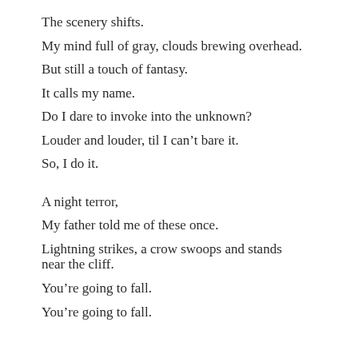The scenery shifts.
My mind full of gray, clouds brewing overhead.
But still a touch of fantasy.
It calls my name.
Do I dare to invoke into the unknown?
Louder and louder, til I can't bare it.
So, I do it.
A night terror,
My father told me of these once.
Lightning strikes, a crow swoops and stands near the cliff.
You’re going to fall.
You’re going to fall.